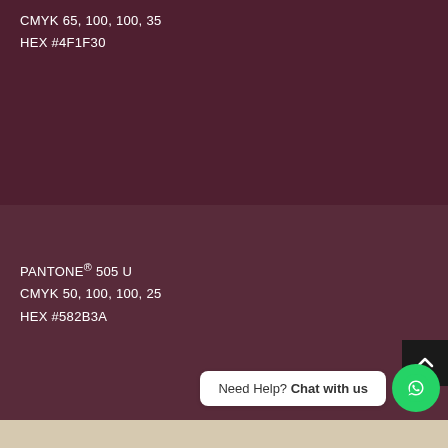CMYK 65, 100, 100, 35
HEX #4F1F30
PANTONE® 505 U
CMYK 50, 100, 100, 25
HEX #582B3A
Need Help? Chat with us